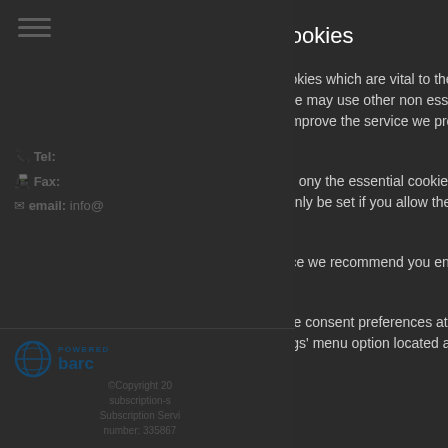[Figure (screenshot): Dimmed website background showing hamburger menu icon, Tel/Fax/email contact info, Barclays payment logo, Symantec security badge, copyright text, and IP Data text — all partially obscured by cookie consent overlay]
This Site Uses Cookies
This site uses essential cookies which are vital to the correct operation of this website, we may use other non essential cookies which allow us to improve the service we provide to you.
When you first visit this site ony the essential cookies are set, non essential cookies will only be set if you allow them in the settings below.
For the best user experience we recommend you enable all cookies.
You can change your cookie consent preferences at any time by using the 'Cookie Settings' menu option located at